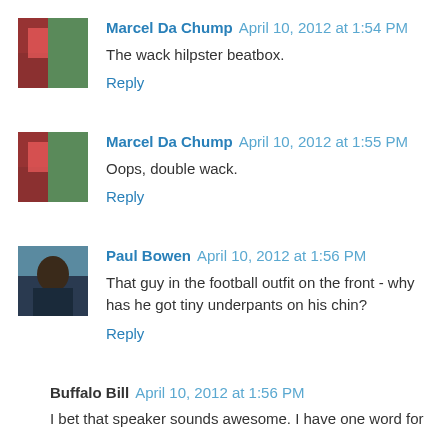Marcel Da Chump April 10, 2012 at 1:54 PM
The wack hilpster beatbox.
Reply
Marcel Da Chump April 10, 2012 at 1:55 PM
Oops, double wack.
Reply
Paul Bowen April 10, 2012 at 1:56 PM
That guy in the football outfit on the front - why has he got tiny underpants on his chin?
Reply
Buffalo Bill April 10, 2012 at 1:56 PM
I bet that speaker sounds awesome. I have one word for